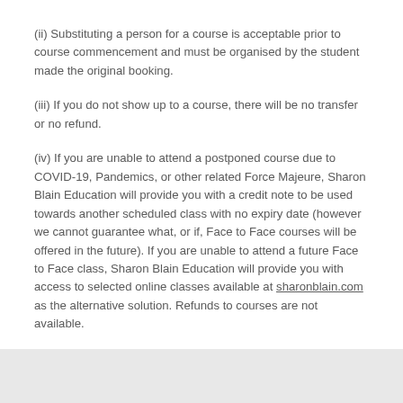(ii) Substituting a person for a course is acceptable prior to course commencement and must be organised by the student made the original booking.
(iii) If you do not show up to a course, there will be no transfer or no refund.
(iv) If you are unable to attend a postponed course due to COVID-19, Pandemics, or other related Force Majeure, Sharon Blain Education will provide you with a credit note to be used towards another scheduled class with no expiry date (however we cannot guarantee what, or if, Face to Face courses will be offered in the future). If you are unable to attend a future Face to Face class, Sharon Blain Education will provide you with access to selected online classes available at sharonblain.com as the alternative solution. Refunds to courses are not available.